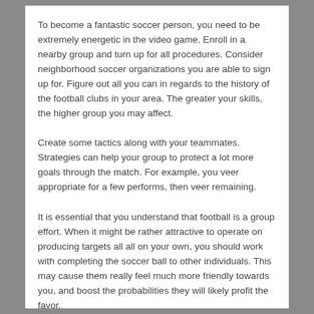To become a fantastic soccer person, you need to be extremely energetic in the video game. Enroll in a nearby group and turn up for all procedures. Consider neighborhood soccer organizations you are able to sign up for. Figure out all you can in regards to the history of the football clubs in your area. The greater your skills, the higher group you may affect.
Create some tactics along with your teammates. Strategies can help your group to protect a lot more goals through the match. For example, you veer appropriate for a few performs, then veer remaining.
It is essential that you understand that football is a group effort. When it might be rather attractive to operate on producing targets all all on your own, you should work with completing the soccer ball to other individuals. This may cause them really feel much more friendly towards you, and boost the probabilities they will likely profit the favor.
When creating a go remember that larger is preferable to better. Broad pictures increase the risk for goalie to really stretch out. If